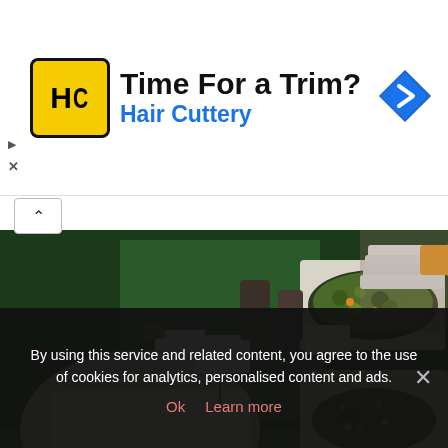[Figure (infographic): Hair Cuttery advertisement banner with yellow/black logo, text 'Time For a Trim? Hair Cuttery', and blue navigation arrow icon on right]
[Figure (photo): Dinner buffet spread at Reethi Beach Resort showing multiple serving dishes with food including corn salad, stir-fry in wok, and other dishes on a table with green tablecloth]
Dinner buffet at Reethi Beach Resort | maldives travel blog
By using this service and related content, you agree to the use of cookies for analytics, personalised content and ads.
Ok   Learn more